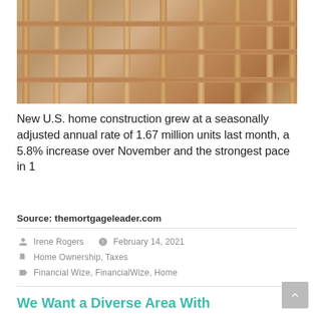[Figure (photo): Interior of a house under construction showing wooden framing/studs]
New U.S. home construction grew at a seasonally adjusted annual rate of 1.67 million units last month, a 5.8% increase over November and the strongest pace in 1
Source: themortgageleader.com
Irene Rogers   February 14, 2021
Home Ownership, Taxes
Financial Wize, FinancialWize, Home
We Want a Diverse Area With